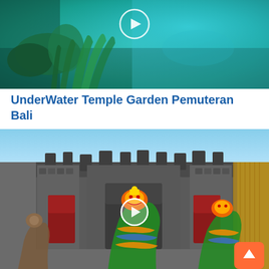[Figure (photo): Underwater scene showing coral and green sea plants in teal/turquoise water with a play button overlay]
UnderWater Temple Garden Pemuteran Bali
[Figure (photo): Balinese temple facade with ornate stone carvings and colorful dragon/serpent statues in front, with a play button overlay and orange back-to-top button]